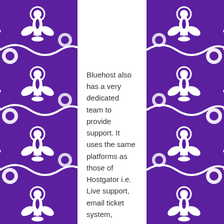[Figure (illustration): Purple fleur-de-lis decorative pattern border on the left side]
[Figure (illustration): Purple fleur-de-lis decorative pattern border on the right side]
Bluehost also has a very dedicated team to provide support. It uses the same platforms as those of Hostgator i.e. Live support, email ticket system,